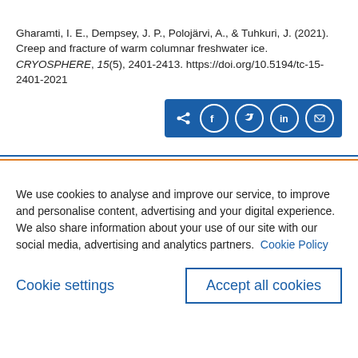Gharamti, I. E., Dempsey, J. P., Polojärvi, A., & Tuhkuri, J. (2021). Creep and fracture of warm columnar freshwater ice. CRYOSPHERE, 15(5), 2401-2413. https://doi.org/10.5194/tc-15-2401-2021
[Figure (other): Social share buttons bar with icons for share, Facebook, Twitter, LinkedIn, and email on a blue background]
We use cookies to analyse and improve our service, to improve and personalise content, advertising and your digital experience. We also share information about your use of our site with our social media, advertising and analytics partners.  Cookie Policy
Cookie settings
Accept all cookies